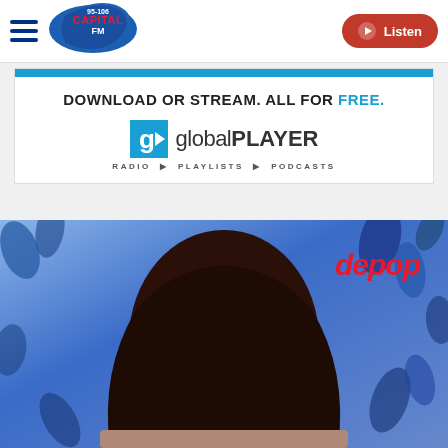95-106 Capital FM — Listen
[Figure (infographic): Global Player advertisement banner: 'DOWNLOAD OR STREAM. ALL FOR FREE.' with Global Player logo showing radio, playlists, podcasts]
[Figure (photo): Person with dark hair in front of a blue floral background with Depop logo text overlay in red italic]